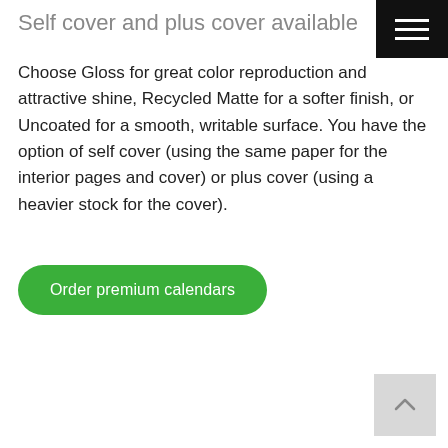Self cover and plus cover available
Choose Gloss for great color reproduction and attractive shine, Recycled Matte for a softer finish, or Uncoated for a smooth, writable surface. You have the option of self cover (using the same paper for the interior pages and cover) or plus cover (using a heavier stock for the cover).
[Figure (other): Green rounded button labeled 'Order premium calendars']
[Figure (other): Back to top arrow button in bottom right corner]